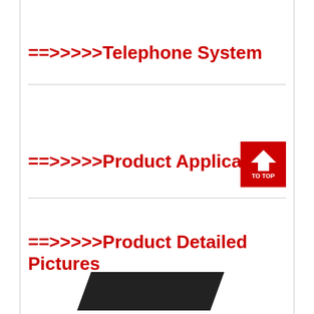==>>>>>Telephone System
==>>>>>Product Application
==>>>>>Product Detailed Pictures
[Figure (other): Dark rectangular object, partially visible at bottom of page]